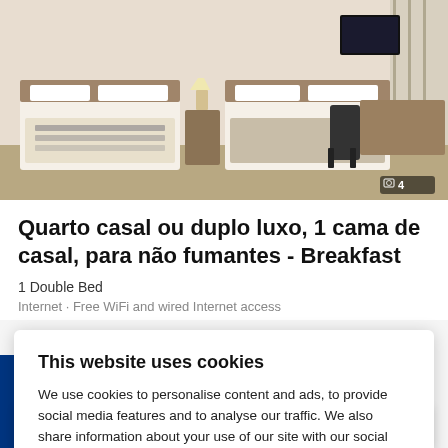[Figure (photo): Hotel room showing two double beds with white linens and patterned bedspreads, lamps on nightstand, desk with chair, window with curtains, and TV on the right side.]
Quarto casal ou duplo luxo, 1 cama de casal, para não fumantes - Breakfast
1 Double Bed
Internet · Free WiFi and wired Internet access
This website uses cookies
We use cookies to personalise content and ads, to provide social media features and to analyse our traffic. We also share information about your use of our site with our social media, advertising and analytics partners. You consent to our cookies if you continue to use our website. Learn more
Show details